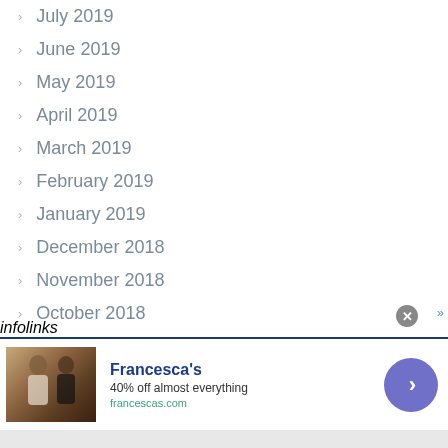July 2019
June 2019
May 2019
April 2019
March 2019
February 2019
January 2019
December 2018
November 2018
October 2018
September 2018
[Figure (other): Infolinks advertisement banner for Francesca's: '40% off almost everything' at francescas.com, with photo of two women and a call-to-action arrow button]